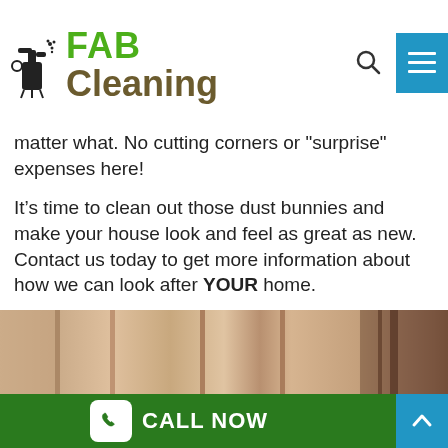[Figure (logo): FAB Cleaning logo with spray bottle icon, green FAB text and olive Cleaning text]
matter what. No cutting corners or "surprise" expenses here!
It’s time to clean out those dust bunnies and make your house look and feel as great as new. Contact us today to get more information about how we can look after YOUR home.
[Figure (photo): Close-up photo of light beige curtains or fabric panels with a dark doorframe visible on the right]
CALL NOW